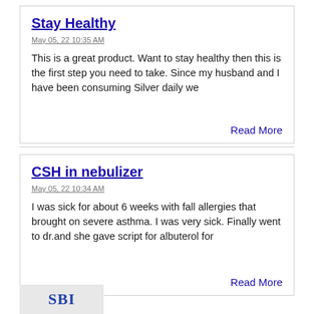Stay Healthy
May 05, 22 10:35 AM
This is a great product. Want to stay healthy then this is the first step you need to take. Since my husband and I have been consuming Silver daily we
Read More
CSH in nebulizer
May 05, 22 10:34 AM
I was sick for about 6 weeks with fall allergies that brought on severe asthma. I was very sick. Finally went to dr.and she gave script for albuterol for
Read More
[Figure (logo): SBI logo partial view at bottom left]